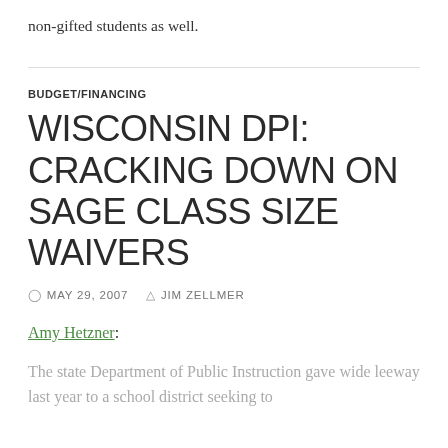non-gifted students as well.
BUDGET/FINANCING
WISCONSIN DPI: CRACKING DOWN ON SAGE CLASS SIZE WAIVERS
MAY 29, 2007   JIM ZELLMER
Amy Hetzner:
The state Department of Public Instruction gave wide leeway last year to a school district seeking to